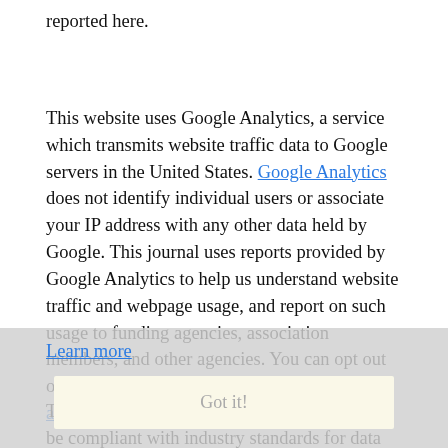reported here.
This website uses Google Analytics, a service which transmits website traffic data to Google servers in the United States. Google Analytics does not identify individual users or associate your IP address with any other data held by Google. This journal uses reports provided by Google Analytics to help us understand website traffic and webpage usage, and report on such usage to funding agencies, association members, and other agencies. You can opt out of Google Analytics by installing this browser add-on.
Learn more
Got it!
Those involved in editing this journal seek to be compliant with industry standards for data privacy, including the